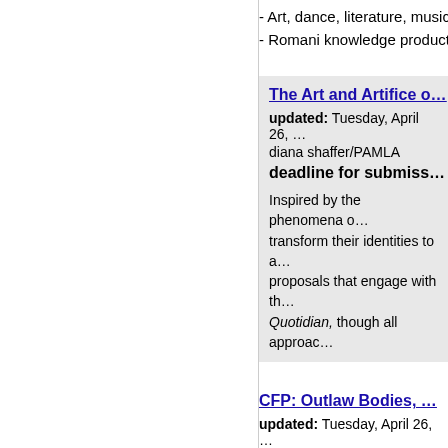- Art, dance, literature, music…
- Romani knowledge producti…
The Art and Artifice o…
updated: Tuesday, April 26, …
diana shaffer/PAMLA
deadline for submiss…
Inspired by the phenomena o… transform their identities to a… proposals that engage with th… Quotidian, though all approac…
CFP: Outlaw Bodies, …
updated: Tuesday, April 26, …
International Association for P…
deadline for subm…